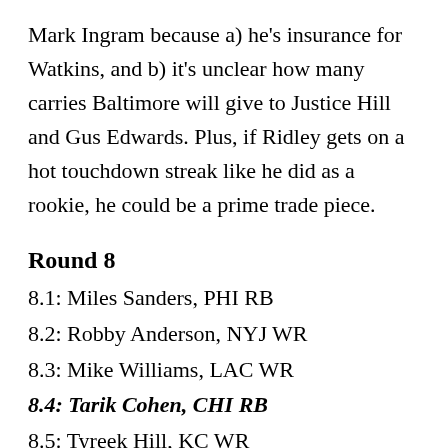Mark Ingram because a) he's insurance for Watkins, and b) it's unclear how many carries Baltimore will give to Justice Hill and Gus Edwards. Plus, if Ridley gets on a hot touchdown streak like he did as a rookie, he could be a prime trade piece.
Round 8
8.1: Miles Sanders, PHI RB
8.2: Robby Anderson, NYJ WR
8.3: Mike Williams, LAC WR
8.4: Tarik Cohen, CHI RB
8.5: Tyreek Hill, KC WR
8.6: Derrius Guice, WAS RB